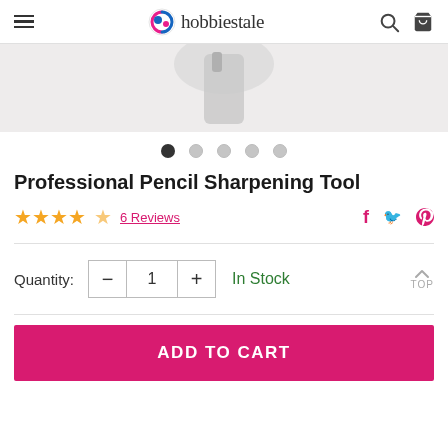hobbiestale
[Figure (photo): Partial product image of a pencil sharpening tool on a light gray background]
[Figure (other): Carousel dots — 5 dots, first one is dark/active, rest are light gray]
Professional Pencil Sharpening Tool
★★★★½  6 Reviews
In Stock
Quantity: - 1 + In Stock
ADD TO CART